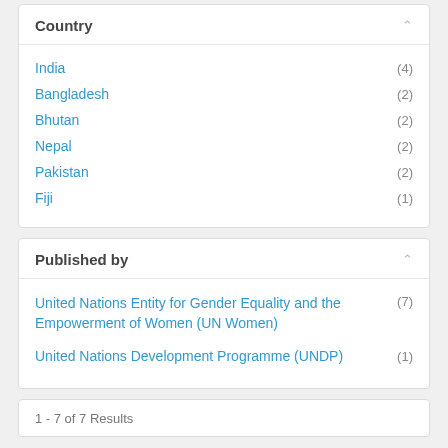Country
India (4)
Bangladesh (2)
Bhutan (2)
Nepal (2)
Pakistan (2)
Fiji (1)
Published by
United Nations Entity for Gender Equality and the Empowerment of Women (UN Women) (7)
United Nations Development Programme (UNDP) (1)
1 - 7 of 7 Results